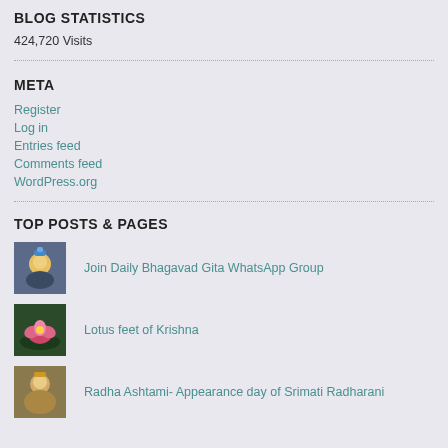BLOG STATISTICS
424,720 Visits
META
Register
Log in
Entries feed
Comments feed
WordPress.org
TOP POSTS & PAGES
Join Daily Bhagavad Gita WhatsApp Group
Lotus feet of Krishna
Radha Ashtami- Appearance day of Srimati Radharani